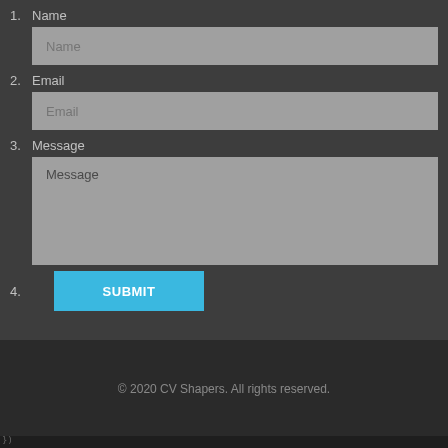1. Name
Name
2. Email
Email
3. Message
Message
4.
SUBMIT
© 2020 CV Shapers. All rights reserved.
})